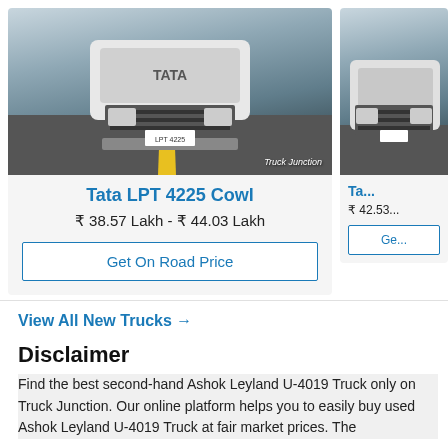[Figure (photo): Tata LPT 4225 truck front view on road with city skyline background, watermark 'Truck Junction']
Tata LPT 4225 Cowl
₹ 38.57 Lakh - ₹ 44.03 Lakh
Get On Road Price
[Figure (photo): Tata truck partial view on road with city skyline background (right card, partially visible)]
Ta...
₹ 42.53...
Ge...
View All New Trucks →
Disclaimer
Find the best second-hand Ashok Leyland U-4019 Truck only on Truck Junction. Our online platform helps you to easily buy used Ashok Leyland U-4019 Truck at fair market prices. The